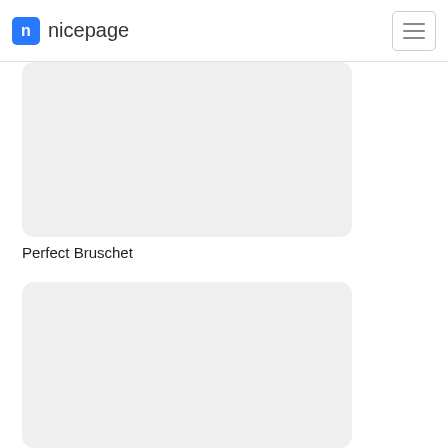n nicepage
[Figure (other): Gray placeholder image card with rounded corners]
Perfect Bruschet
[Figure (other): Gray placeholder image card with rounded corners (partially visible)]